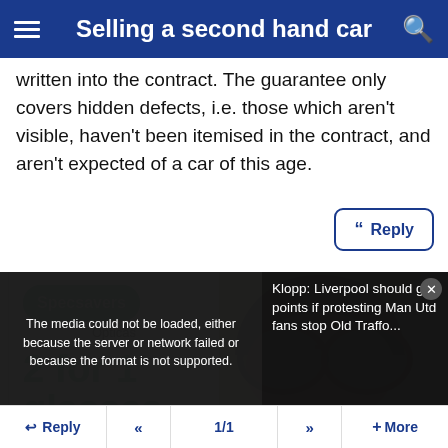Selling a second hand car
written into the contract. The guarantee only covers hidden defects, i.e. those which aren't visible, haven't been itemised in the contract, and aren't expected of a car of this age.
[Figure (screenshot): Specsavers Ópticas advertisement showing logo and '2 for 1 glasses' text with a woman wearing glasses on green background]
[Figure (screenshot): Media player overlay with error message: The media could not be loaded, either because the server or network failed or because the format is not supported. Alongside video panel with title: Klopp: Liverpool should get points if protesting Man Utd fans stop Old Traffo...]
Reply  «  1/1  »  + More